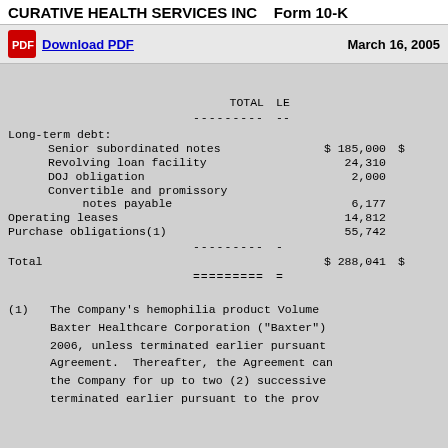CURATIVE HEALTH SERVICES INC   Form 10-K
Download PDF   March 16, 2005
|  | TOTAL | LE |
| --- | --- | --- |
| Long-term debt: |  |  |
|   Senior subordinated notes | $ 185,000 | $ |
|   Revolving loan facility | 24,310 |  |
|   DOJ obligation | 2,000 |  |
|   Convertible and promissory notes payable | 6,177 |  |
| Operating leases | 14,812 |  |
| Purchase obligations(1) | 55,742 |  |
| Total | $ 288,041 | $ |
(1)   The Company's hemophilia product Volume Baxter Healthcare Corporation ("Baxter") 2006, unless terminated earlier pursuant Agreement. Thereafter, the Agreement can the Company for up to two (2) successive terminated earlier pursuant to the prov